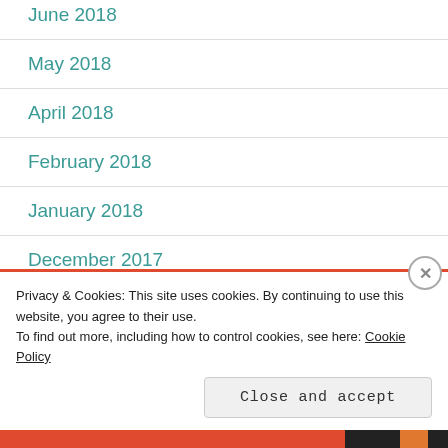June 2018
May 2018
April 2018
February 2018
January 2018
December 2017
November 2017
October 2017
Privacy & Cookies: This site uses cookies. By continuing to use this website, you agree to their use. To find out more, including how to control cookies, see here: Cookie Policy
Close and accept